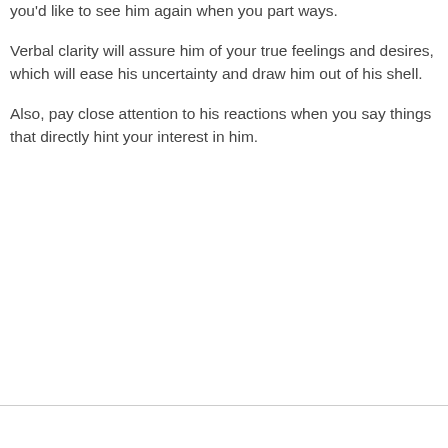you'd like to see him again when you part ways.
Verbal clarity will assure him of your true feelings and desires, which will ease his uncertainty and draw him out of his shell.
Also, pay close attention to his reactions when you say things that directly hint your interest in him.